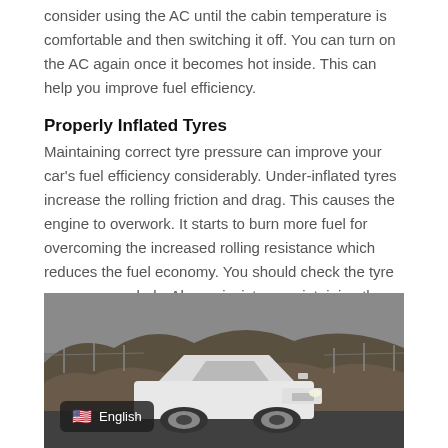consider using the AC until the cabin temperature is comfortable and then switching it off. You can turn on the AC again once it becomes hot inside. This can help you improve fuel efficiency.
Properly Inflated Tyres
Maintaining correct tyre pressure can improve your car's fuel efficiency considerably. Under-inflated tyres increase the rolling friction and drag. This causes the engine to overwork. It starts to burn more fuel for overcoming the increased rolling resistance which reduces the fuel economy. You should check the tyre pressure regularly. Always insist on maintaining the tyre pressure recommended by the manufacturer.
[Figure (photo): A white Audi SUV photographed from the front, parked on a rocky/hilly terrain under an overcast sky. A language selector badge showing a US flag and 'English' appears in the bottom-left corner of the image.]